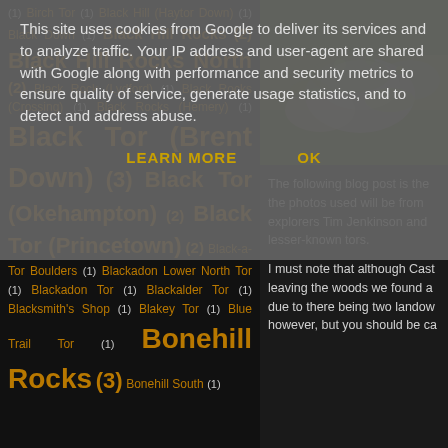This site uses cookies from Google to deliver its services and to analyze traffic. Your IP address and user-agent are shared with Google along with performance and security metrics to ensure quality of service, generate usage statistics, and to detect and address abuse.
LEARN MORE   OK
(1) Birch Tor (1) Black Hill (Haytor Down) (1) Black Down (1) Black Hill Rocks (2) Black Hill Rocks North (2) Black Rock (Lydford) (1) Black Rocks (Crossing) (1) Black Rocks (Hemery) (1) Black Tor (Brent Down) (3) Black Tor (Okehampton) (2) Black Tor (Princetown) (2) Black-a-Tor Boulders (1) Blackadon Lower North Tor (1) Blackadon Tor (1) Blackalder Tor (1) Blacksmith's Shop (1) Blakey Tor (1) Blue Trail Tor (1) Bonehill Rocks (3) Bonehill South (1)
[Figure (photo): Close-up photo of mossy rocks and vegetation on Dartmoor]
The following blog post is the the photos used will be from explorers Tim Jenkinson and lesser-known tors.
I must note that although Cast leaving the woods we found a due to there being two landow however, but you should be ca